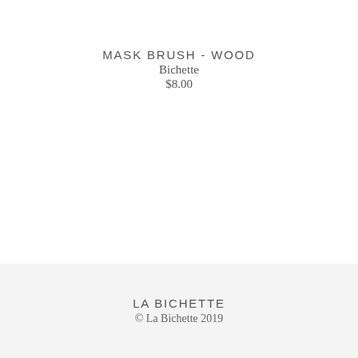MASK BRUSH - WOOD
Bichette
$8.00
LA BICHETTE
© La Bichette 2019